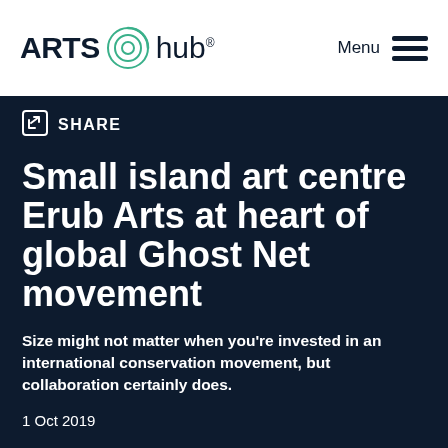ARTS hub® Menu
SHARE
Small island art centre Erub Arts at heart of global Ghost Net movement
Size might not matter when you're invested in an international conservation movement, but collaboration certainly does.
1 Oct 2019